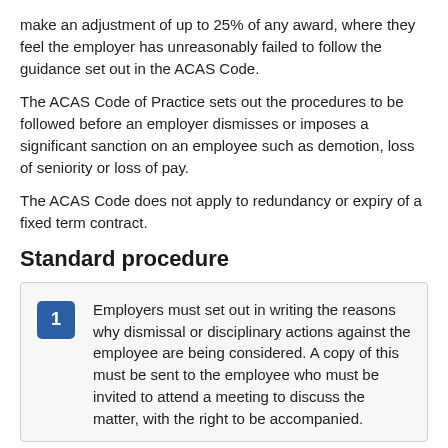make an adjustment of up to 25% of any award, where they feel the employer has unreasonably failed to follow the guidance set out in the ACAS Code.
The ACAS Code of Practice sets out the procedures to be followed before an employer dismisses or imposes a significant sanction on an employee such as demotion, loss of seniority or loss of pay.
The ACAS Code does not apply to redundancy or expiry of a fixed term contract.
Standard procedure
1. Employers must set out in writing the reasons why dismissal or disciplinary actions against the employee are being considered. A copy of this must be sent to the employee who must be invited to attend a meeting to discuss the matter, with the right to be accompanied.